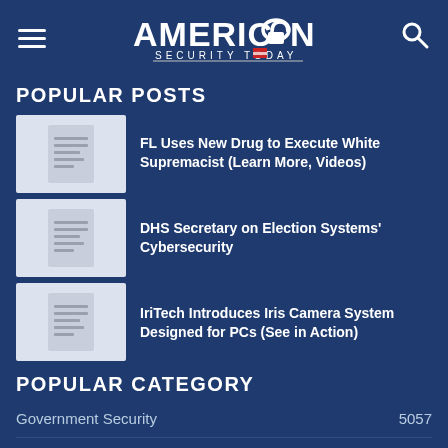AMERICAN SECURITY TODAY
POPULAR POSTS
FL Uses New Drug to Execute White Supremacist (Learn More, Videos)
DHS Secretary on Election Systems' Cybersecurity
IriTech Introduces Iris Camera System Designed for PCs (See in Action)
POPULAR CATEGORY
| Category | Count |
| --- | --- |
| Government Security | 5057 |
| Law Enforcement | 3929 |
| Federal | 3833 |